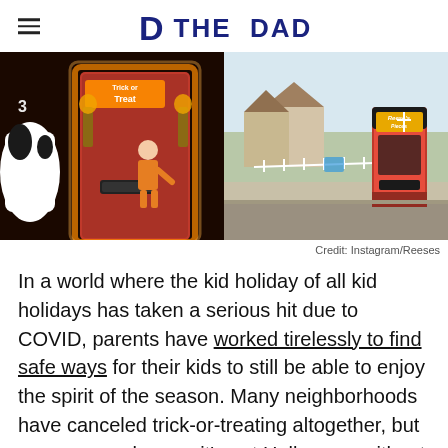THE DAD
[Figure (photo): Two-panel photo: left panel shows a child in a firefighter costume reaching into a candy dispenser slot in a glowing red door decorated for Halloween with a 'Trick or Treat' sign; right panel shows a Reese's branded orange candy vending machine on a suburban sidewalk.]
Credit: Instagram/Reeses
In a world where the kid holiday of all kid holidays has taken a serious hit due to COVID, parents have worked tirelessly to find safe ways for their kids to still be able to enjoy the spirit of the season. Many neighborhoods have canceled trick-or-treating altogether, but as everyone knows, it's not Halloween without a boatload